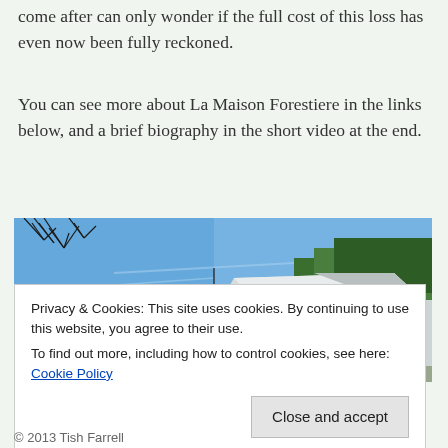come after can only wonder if the full cost of this loss has even now been fully reckoned.
You can see more about La Maison Forestiere in the links below, and a brief biography in the short video at the end.
[Figure (photo): Exterior photo of La Maison Forestiere building — a modern white angular structure with a red brick building to the left, bare trees in the background against a blue sky.]
Privacy & Cookies: This site uses cookies. By continuing to use this website, you agree to their use.
To find out more, including how to control cookies, see here: Cookie Policy
[Close and accept button]
© 2013 Tish Farrell